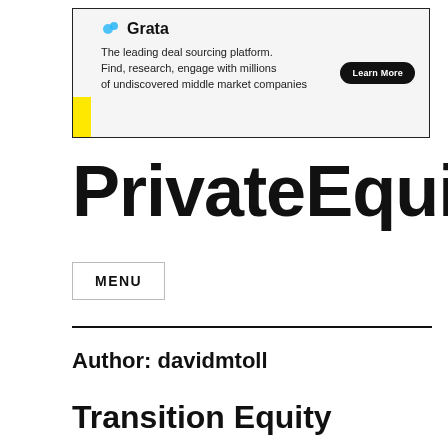[Figure (screenshot): Grata advertisement banner: 'The leading deal sourcing platform. Find, research, engage with millions of undiscovered middle market companies' with a Learn More button and yellow accent block]
PrivateEquit
MENU
Author: davidmtoll
Transition Equity